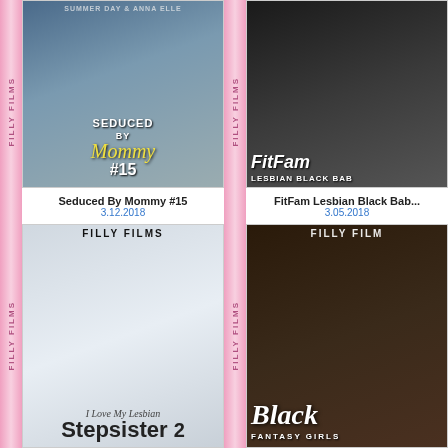[Figure (photo): DVD cover for 'Seduced By Mommy #15' by Filly Films, with pink spine showing 'FILLY FILMS' text]
Seduced By Mommy #15
3.12.2018
[Figure (photo): DVD cover for 'FitFam Lesbian Black Bab...' by Filly Films, with pink spine]
FitFam Lesbian Black Bab...
3.05.2018
[Figure (photo): DVD cover for 'I Love My Lesbian Stepsister 2' by Filly Films, with pink spine showing 'FILLY FILMS']
[Figure (photo): DVD cover for 'Black Fantasy Girls' by Filly Films, with pink spine showing 'FILLY FILMS']